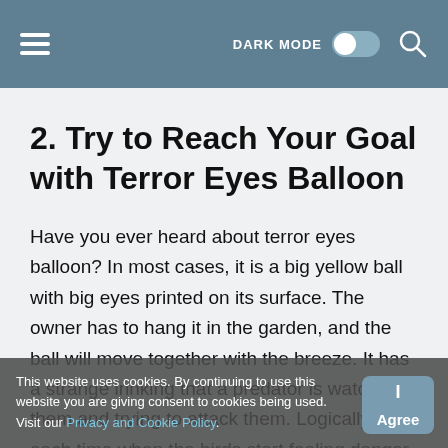DARK MODE  [toggle]  [search]
2. Try to Reach Your Goal with Terror Eyes Balloon
Have you ever heard about terror eyes balloon? In most cases, it is a big yellow ball with big eyes printed on its surface. The owner has to hang it in the garden, and the ball will move together with the breeze. It has a strange in[...]nking that a predator is watching them and trying to attack them. Logically, each time when the birds start feeling danger,
This website uses cookies. By continuing to use this website you are giving consent to cookies being used. Visit our Privacy and Cookie Policy.